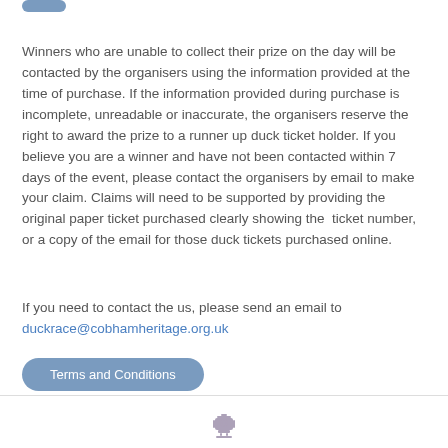[Figure (other): Rounded button with blue-grey background at top left]
Winners who are unable to collect their prize on the day will be contacted by the organisers using the information provided at the time of purchase. If the information provided during purchase is incomplete, unreadable or inaccurate, the organisers reserve the right to award the prize to a runner up duck ticket holder. If you believe you are a winner and have not been contacted within 7 days of the event, please contact the organisers by email to make your claim. Claims will need to be supported by providing the original paper ticket purchased clearly showing the  ticket number, or a copy of the email for those duck tickets purchased online.
If you need to contact the us, please send an email to duckrace@cobhamheritage.org.uk
[Figure (other): Rounded button labelled Terms and Conditions with blue-grey background]
[Figure (logo): Small crown/logo icon at the bottom center of the page]